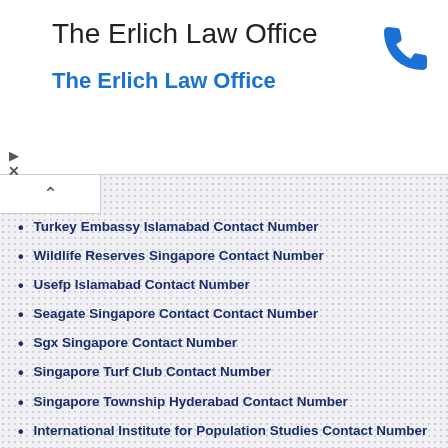[Figure (other): Advertisement banner for The Erlich Law Office with phone icon, play and close controls]
The Erlich Law Office
The Erlich Law Office
Turkey Embassy Islamabad Contact Number
Wildlife Reserves Singapore Contact Number
Usefp Islamabad Contact Number
Seagate Singapore Contact Contact Number
Sgx Singapore Contact Number
Singapore Turf Club Contact Number
Singapore Township Hyderabad Contact Number
International Institute for Population Studies Contact Number
Delta Dental Michigan Contact Number
California Department of Insurance Contact Number